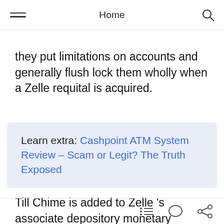Home
they put limitations on accounts and generally flush lock them wholly when a Zelle requital is acquired.
Learn extra: Cashpoint ATM System Review – Scam or Legit? The Truth Exposed
Till Chime is added to Zelle 's associate depository monetary establishment record, this shall be a electrical potential facet consequence of receiving a Zelle fee by way of Chime. If attainable, it is best